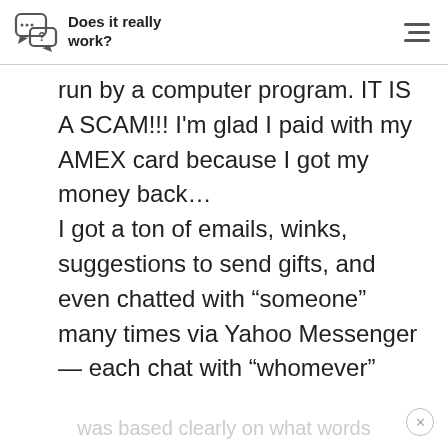Does it really work?
run by a computer program. IT IS A SCAM!!! I'm glad I paid with my AMEX card because I got my money back… I got a ton of emails, winks, suggestions to send gifts, and even chatted with “someone” many times via Yahoo Messenger — each chat with “whomever”
was based clearly on what words